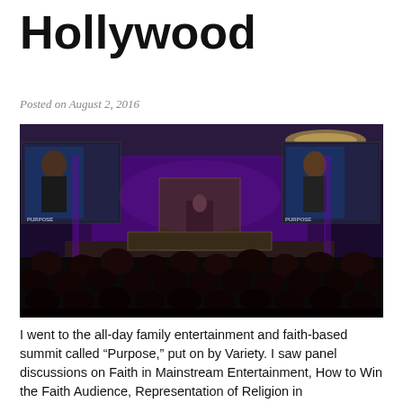Hollywood
Posted on August 2, 2016
[Figure (photo): A conference event photo showing a large auditorium with an audience watching a stage. On stage a speaker stands at a podium. Large projection screens on either side show close-ups of a presenter. The stage is lit with purple lighting and draped curtains. A Variety 'Purpose' summit banner is visible.]
I went to the all-day family entertainment and faith-based summit called “Purpose,” put on by Variety. I saw panel discussions on Faith in Mainstream Entertainment, How to Win the Faith Audience, Representation of Religion in Entertainment and others. This was not a conference for wannabes or Christian subculture, these were successful writers, producers, and executives, key decision makers and content makers in Hollywood. The real thing, people working with studios and networks making and marketing content